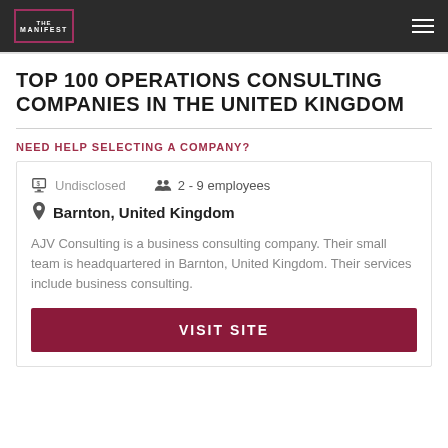THE MANIFEST
TOP 100 OPERATIONS CONSULTING COMPANIES IN THE UNITED KINGDOM
NEED HELP SELECTING A COMPANY?
Undisclosed   2 - 9 employees
Barnton, United Kingdom
AJV Consulting is a business consulting company. Their small team is headquartered in Barnton, United Kingdom. Their services include business consulting.
VISIT SITE